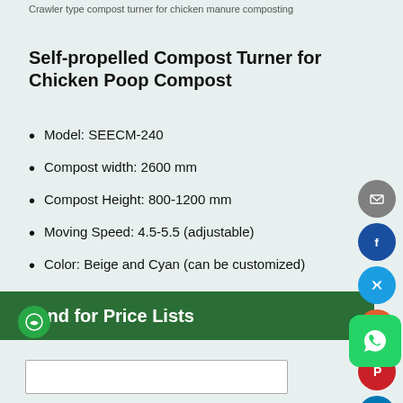Crawler type compost turner for chicken manure composting
Self-propelled Compost Turner for Chicken Poop Compost
Model: SEECM-240
Compost width: 2600 mm
Compost Height: 800-1200 mm
Moving Speed: 4.5-5.5 (adjustable)
Color: Beige and Cyan (can be customized)
Application: Turning organic waste during composting
Send for Price Lists